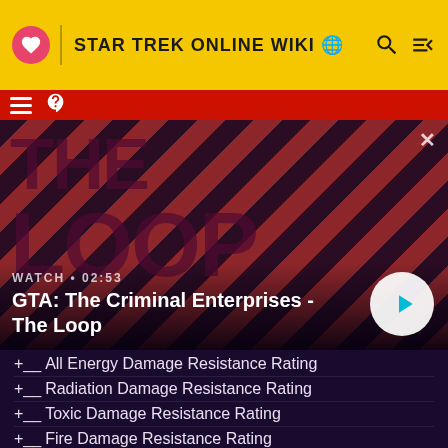STAR TREK ONLINE WIKI
[Figure (screenshot): GTA: The Criminal Enterprises - The Loop video thumbnail with diagonal red and dark stripes background and character art. Shows WATCH • 02:53 label and play button.]
GTA: The Criminal Enterprises - The Loop
+__ All Energy Damage Resistance Rating
+__ Radiation Damage Resistance Rating
+__ Toxic Damage Resistance Rating
+__ Fire Damage Resistance Rating
+__ Cold Resistance Rating